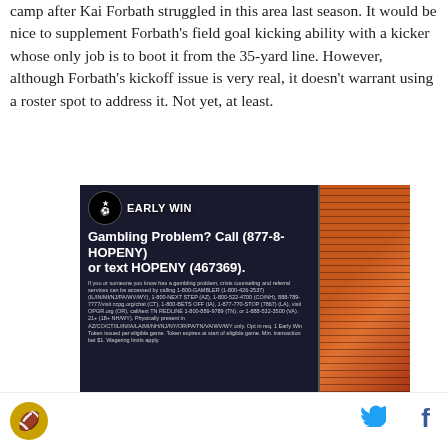camp after Kai Forbath struggled in this area last season. It would be nice to supplement Forbath's field goal kicking ability with a kicker whose only job is to boot it from the 35-yard line. However, although Forbath's kickoff issue is very real, it doesn't warrant using a roster spot to address it. Not yet, at least.
[Figure (infographic): Early Win gambling advertisement: 'Gambling Problem? Call (877-8-HOPENY) or text HOPENY (467369).' with fine print about crisis counseling services, phone numbers for various states, and eligibility requirements.]
Social share icons: Twitter and Facebook